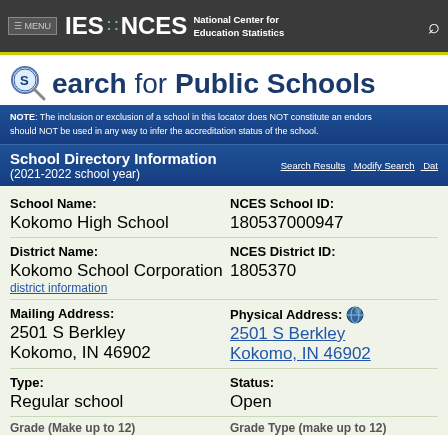≡ MENU  IES ·· NCES  National Center for Education Statistics
Search for Public Schools
NOTE: The inclusion or exclusion of a school in this locator does NOT constitute an endorsement should NOT be used in any way to infer the accreditation status of the school.
School Directory Information (2021-2022 school year)
| Field | Value |
| --- | --- |
| School Name: | Kokomo High School |
| NCES School ID: | 180537000947 |
| District Name: | Kokomo School Corporation |
| NCES District ID: | 1805370 |
| Mailing Address: | 2501 S Berkley
Kokomo, IN 46902 |
| Physical Address: | 2501 S Berkley
Kokomo, IN 46902 |
| Type: | Regular school |
| Status: | Open |